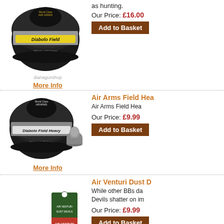as hunting. Our Price: £16.00
[Figure (photo): Air Arms Diabolo Field pellet tin, black circular tin with yellow label, 500 pcs]
More Info
Air Arms Field Hea...
Air Arms Field Hea... Our Price: £9.99
[Figure (photo): Air Arms Diabolo Field Heavy pellet tin with a pellet beside it]
More Info
Air Venturi Dust D...
While other BBs da... Devils shatter on im... Our Price: £9.99
[Figure (photo): Air Venturi Dust Devils BBs - scattered BBs and a product box with red label]
More Info